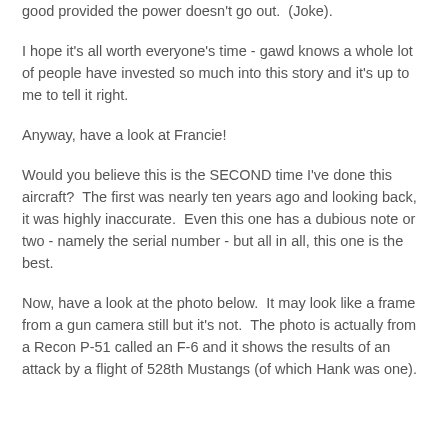printing but only for PR gifts as it seems the best way to tell Hank's story is through the digital platform.  This is all well and good provided the power doesn't go out.  (Joke).
I hope it's all worth everyone's time - gawd knows a whole lot of people have invested so much into this story and it's up to me to tell it right.
Anyway, have a look at Francie!
Would you believe this is the SECOND time I've done this aircraft?  The first was nearly ten years ago and looking back, it was highly inaccurate.  Even this one has a dubious note or two - namely the serial number - but all in all, this one is the best.
Now, have a look at the photo below.  It may look like a frame from a gun camera still but it's not.  The photo is actually from a Recon P-51 called an F-6 and it shows the results of an attack by a flight of 528th Mustangs (of which Hank was one).